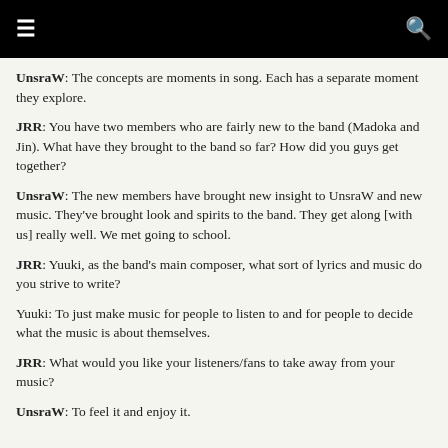≡  🔍
UnsraW: The concepts are moments in song. Each has a separate moment they explore.
JRR: You have two members who are fairly new to the band (Madoka and Jin). What have they brought to the band so far? How did you guys get together?
UnsraW: The new members have brought new insight to UnsraW and new music. They've brought look and spirits to the band. They get along [with us] really well. We met going to school.
JRR: Yuuki, as the band's main composer, what sort of lyrics and music do you strive to write?
Yuuki: To just make music for people to listen to and for people to decide what the music is about themselves.
JRR: What would you like your listeners/fans to take away from your music?
UnsraW: To feel it and enjoy it.